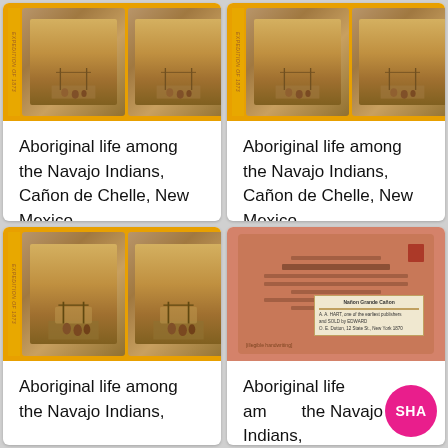[Figure (photo): Stereograph card showing Aboriginal life among the Navajo Indians at Cañon de Chelle, New Mexico - front view, top left]
Aboriginal life among the Navajo Indians, Cañon de Chelle, New Mexico.
[Figure (photo): Stereograph card showing Aboriginal life among the Navajo Indians at Cañon de Chelle, New Mexico - front view, top right]
Aboriginal life among the Navajo Indians, Cañon de Chelle, New Mexico.
[Figure (photo): Stereograph card showing Aboriginal life among the Navajo Indians at Cañon de Chelle, New Mexico - front view, bottom left]
Aboriginal life among the Navajo Indians,
[Figure (photo): Back of stereograph card with handwritten text and label, bottom right]
Aboriginal life am the Navajo Indians,